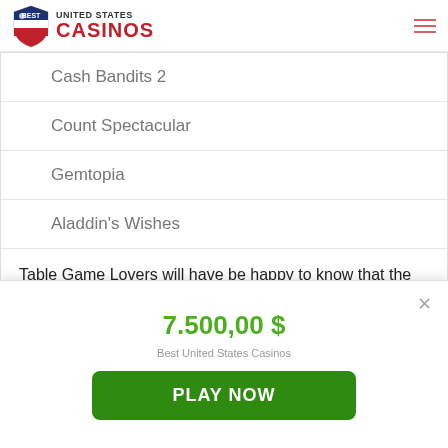Best United States Casinos
Cash Bandits 2
Count Spectacular
Gemtopia
Aladdin's Wishes
Table Game Lovers will have be happy to know that the internet casino has a various table games that they can choose from such as:
Caribbean Stud Poker
7.500,00 $
Best United States Casinos
PLAY NOW